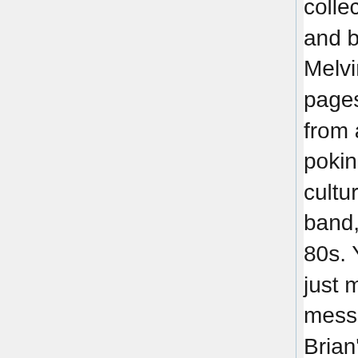collection of edgy, biting comic art and bad assed, rare tunes from the Melvins. MANCHILD 4 is 100 pages of illustrations and stories from a comic artist who's been poking fun at subversive youth culture, pop culture, your favorite band, and himself since the early 80s. You'll laugh. You'll cringe. You just might get angry and start a message board war. Contents of Brian's new book include "No! I Don't Want To Play Your Effing House Party", "Frisky's Beaver Hut", "We Were All Assholes", "My First Orgasm", "Emo Rock Revival", and tons of others. There's also an in depth Melvins 2008 tour diary that's sure to break a few eggs. BATABING! There are 3000 of these on earth. How many do you have?"